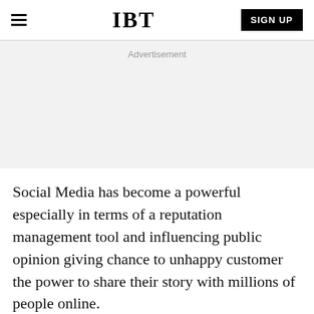IBT  SIGN UP
Advertisement
Social Media has become a powerful especially in terms of a reputation management tool and influencing public opinion giving chance to unhappy customer the power to share their story with millions of people online.